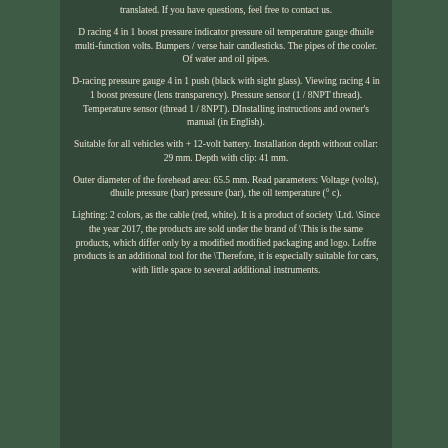translated. If you have questions, feel free to contact us.
D racing 4 in 1 boost pressure indicator pressure oil temperature gauge dhuile multi-function volts. Bumpers / verse hair candlesticks. The pipes of the cooler. Of water and oil pipes.
D-racing pressure gauge 4 in 1 push (black with sight glass). Viewing racing 4 in 1 boost pressure (lens transparency). Pressure sensor (1 / 8NPT thread). Temperature sensor (thread 1 / 8NPT). DInstalling instructions and owner’s manual (in English).
Suitable for all vehicles with + 12-volt battery. Installation depth without collar: 29 mm. Depth with clip: 41 mm.
Outer diameter of the forehead area: 65.5 mm. Read parameters: Voltage (volts), dhuile pressure (bar) pressure (bar), the oil temperature (° c).
Lighting: 2 colors, as the cable (red, white). It is a product of society \Ltd. \Since the year 2017, the products are sold under the brand of \This is the same products, which differ only by a modified modified packaging and logo. Loffre products is an additional tool for the \Therefore, it is especially suitable for cars, with little space to several additional instruments.